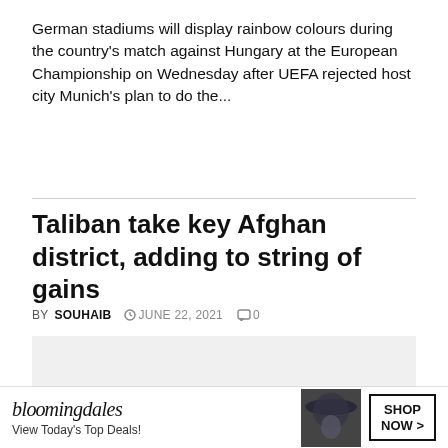German stadiums will display rainbow colours during the country's match against Hungary at the European Championship on Wednesday after UEFA rejected host city Munich's plan to do the...
Taliban take key Afghan district, adding to string of gains
BY SOUHAIB  JUNE 22, 2021  0
[Figure (photo): Placeholder image area for article photo (light gray rectangle)]
[Figure (infographic): Advertisement banner: Bloomingdale's - View Today's Top Deals! SHOP NOW >]